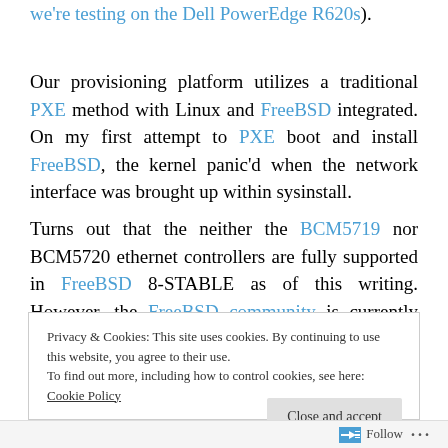we're testing on the Dell PowerEdge R620s).
Our provisioning platform utilizes a traditional PXE method with Linux and FreeBSD integrated. On my first attempt to PXE boot and install FreeBSD, the kernel panic'd when the network interface was brought up within sysinstall.
Turns out that the neither the BCM5719 nor BCM5720 ethernet controllers are fully supported in FreeBSD 8-STABLE as of this writing. However, the FreeBSD community is currently working on resolving this.
Privacy & Cookies: This site uses cookies. By continuing to use this website, you agree to their use.
To find out more, including how to control cookies, see here: Cookie Policy
Close and accept
Follow ···